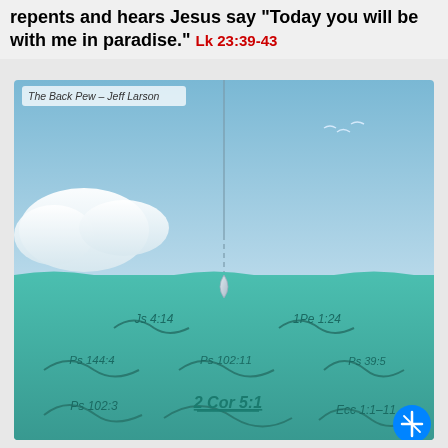repents and hears Jesus say "Today you will be with me in paradise." Lk 23:39-43
[Figure (illustration): Religious illustration showing a fishing line dropping from sky into ocean water. Sky has clouds and birds. Water has waves labeled with Bible verses: Js 4:14, 1Pe 1:24, Ps 144:4, Ps 102:11, Ps 39:5, Ps 102:3, 2 Cor 5:1 (highlighted/underlined), Ecc 1:1-11. A teardrop/fishhook shape is at the water surface. Credit reads 'The Back Pew – Jeff Larson'.]